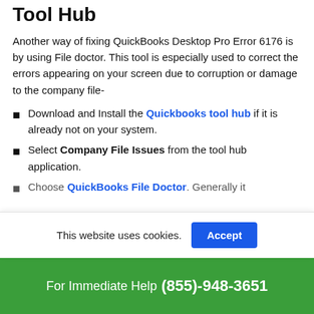Tool Hub
Another way of fixing QuickBooks Desktop Pro Error 6176 is by using File doctor. This tool is especially used to correct the errors appearing on your screen due to corruption or damage to the company file-
Download and Install the Quickbooks tool hub if it is already not on your system.
Select Company File Issues from the tool hub application.
Choose QuickBooks File Doctor. Generally it
This website uses cookies.
For Immediate Help (855)-948-3651